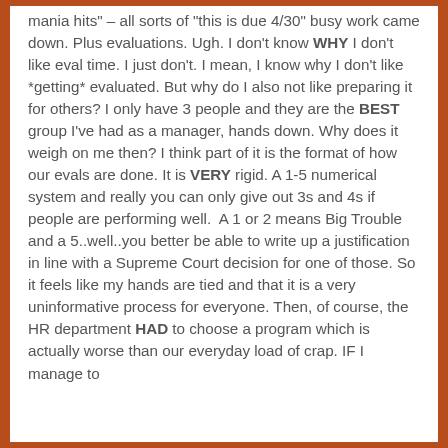mania hits" – all sorts of "this is due 4/30" busy work came down. Plus evaluations. Ugh. I don't know WHY I don't like eval time. I just don't. I mean, I know why I don't like *getting* evaluated. But why do I also not like preparing it for others? I only have 3 people and they are the BEST group I've had as a manager, hands down. Why does it weigh on me then? I think part of it is the format of how our evals are done. It is VERY rigid. A 1-5 numerical system and really you can only give out 3s and 4s if people are performing well.  A 1 or 2 means Big Trouble and a 5..well..you better be able to write up a justification in line with a Supreme Court decision for one of those. So it feels like my hands are tied and that it is a very uninformative process for everyone. Then, of course, the HR department HAD to choose a program which is actually worse than our everyday load of crap. IF I manage to